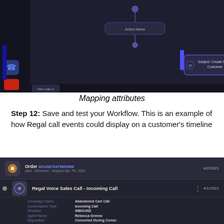[Figure (screenshot): Dark-themed workflow builder UI showing attribute mapping panel with nodes and configuration options on the right side]
Mapping attributes
Step 12: Save and test your Workflow. This is an example of how Regal call events could display on a customer's timeline
[Figure (screenshot): Dark-themed CRM timeline showing an Order entry (4/2/2021) and a Regal Voice Sales Call - Incoming Call entry (4/1/2021) with details: Campaign Name: Abandoned Cart Call, Conversation Type: Incoming Call, Direction: INBOUND, Agent Name: Rebecca Greene, Disposition: Converted During Convo, Customer Objections: Price, Shipping Tens, Conversation Notes: Heard about our product from her sister]